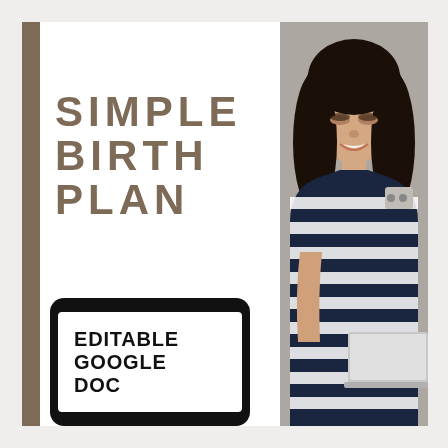SIMPLE BIRTH PLAN
[Figure (illustration): Black tablet device mockup showing text 'EDITABLE GOOGLE DOC' in bold black uppercase on white screen]
[Figure (photo): Pregnant woman with dark hair wearing a navy and white striped sleeveless top, smiling and looking down at a laptop computer, photographed against a grey wall background]